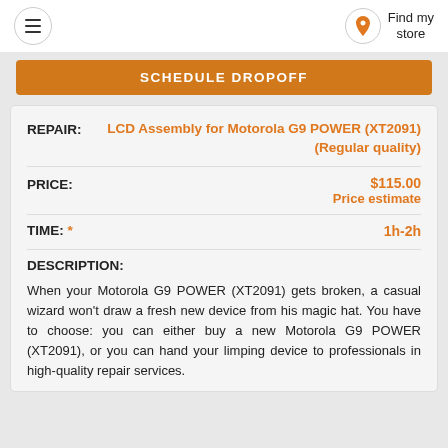≡  Find my store
SCHEDULE DROPOFF
REPAIR: LCD Assembly for Motorola G9 POWER (XT2091) (Regular quality)
PRICE: $115.00 Price estimate
TIME: * 1h-2h
DESCRIPTION:
When your Motorola G9 POWER (XT2091) gets broken, a casual wizard won't draw a fresh new device from his magic hat. You have to choose: you can either buy a new Motorola G9 POWER (XT2091), or you can hand your limping device to professionals in high-quality repair services.